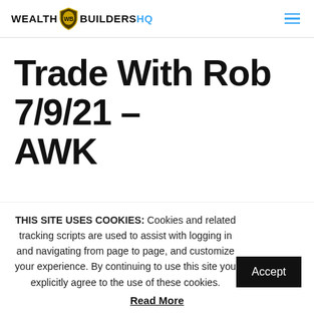WEALTH WB BUILDERS HQ
Trade With Rob 7/9/21 – AWK
THIS SITE USES COOKIES: Cookies and related tracking scripts are used to assist with logging in and navigating from page to page, and customize your experience. By continuing to use this site you explicitly agree to the use of these cookies.
Read More